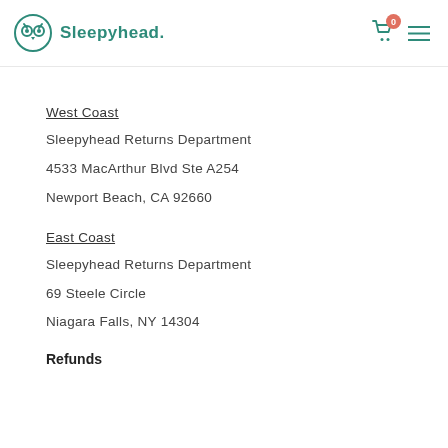Sleepyhead.
West Coast
Sleepyhead Returns Department
4533 MacArthur Blvd Ste A254
Newport Beach, CA 92660
East Coast
Sleepyhead Returns Department
69 Steele Circle
Niagara Falls, NY 14304
Refunds